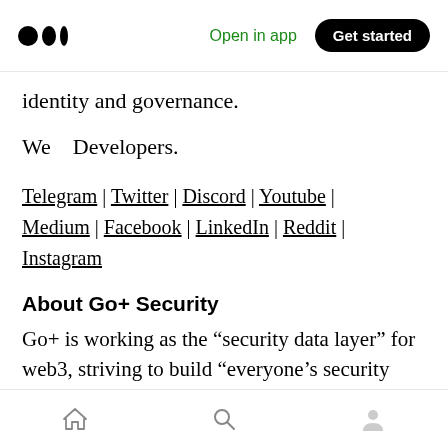Medium logo | Open in app | Get started
identity and governance.
We   Developers.
Telegram | Twitter | Discord | Youtube | Medium | Facebook | LinkedIn | Reddit | Instagram
About Go+ Security
Go+ is working as the “security data layer” for web3, striving to build “everyone’s security tool” by providing open, permissionless, user-driven Security Services. Go+ security engine covers
Home | Search | Profile